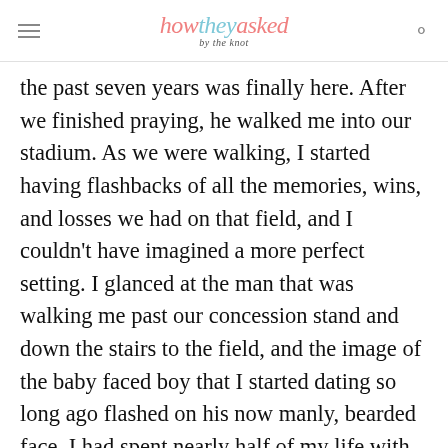how they asked by the knot
the past seven years was finally here. After we finished praying, he walked me into our stadium. As we were walking, I started having flashbacks of all the memories, wins, and losses we had on that field, and I couldn't have imagined a more perfect setting. I glanced at the man that was walking me past our concession stand and down the stairs to the field, and the image of the baby faced boy that I started dating so long ago flashed on his now manly, bearded face. I had spent nearly half of my life with him already, and I realized I would get to spend the rest of it with him as well. My tears continued to flow. After so many memories played through my head, I zoomed...